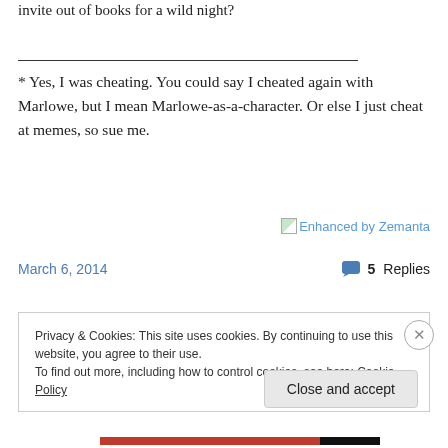invite out of books for a wild night?
* Yes, I was cheating. You could say I cheated again with Marlowe, but I mean Marlowe-as-a-character. Or else I just cheat at memes, so sue me.
[Figure (other): Enhanced by Zemanta image link with broken image icon]
March 6, 2014    5 Replies
Privacy & Cookies: This site uses cookies. By continuing to use this website, you agree to their use.
To find out more, including how to control cookies, see here: Cookie Policy
Close and accept